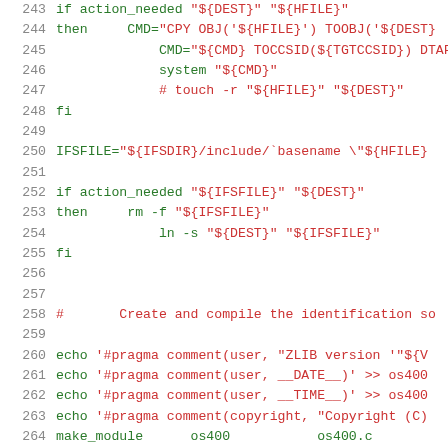[Figure (screenshot): Source code listing showing shell script lines 243–264, with line numbers in gray on the left, keywords in green, and string literals in red/dark red on a white background.]